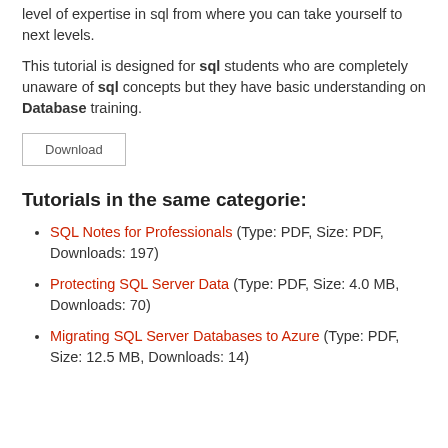level of expertise in sql from where you can take yourself to next levels.
This tutorial is designed for sql students who are completely unaware of sql concepts but they have basic understanding on Database training.
Download
Tutorials in the same categorie:
SQL Notes for Professionals (Type: PDF, Size: PDF, Downloads: 197)
Protecting SQL Server Data (Type: PDF, Size: 4.0 MB, Downloads: 70)
Migrating SQL Server Databases to Azure (Type: PDF, Size: 12.5 MB, Downloads: 14)